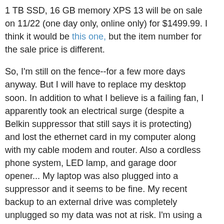1 TB SSD, 16 GB memory XPS 13 will be on sale on 11/22 (one day only, online only) for $1499.99. I think it would be this one, but the item number for the sale price is different.
So, I'm still on the fence--for a few more days anyway. But I will have to replace my desktop soon. In addition to what I believe is a failing fan, I apparently took an electrical surge (despite a Belkin suppressor that still says it is protecting) and lost the ethernet card in my computer along with my cable modem and router. Also a cordless phone system, LED lamp, and garage door opener... My laptop was also plugged into a suppressor and it seems to be fine. My recent backup to an external drive was completely unplugged so my data was not at risk. I'm using a USB2 to ethernet converter for my desktop but it's sloooowww.
It looks as if the XPS 13 only has USB C inputs so I would have to get a hub or converter to use my existing USB devices but that's not too big an issue. But I may want to update my monitor also for when I'm not traveling. I'm currently using a 2012 Dell U2412M. It isn't giving me any problems but it's behind the times now.
Given these choices, does anyone have any comments or